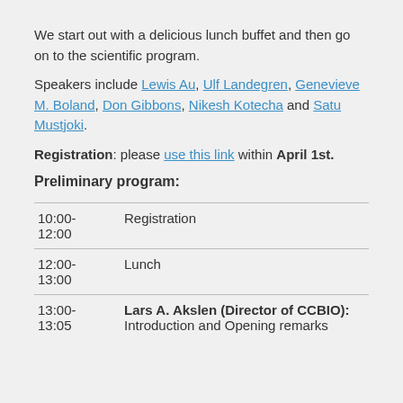We start out with a delicious lunch buffet and then go on to the scientific program.
Speakers include Lewis Au, Ulf Landegren, Genevieve M. Boland, Don Gibbons, Nikesh Kotecha and Satu Mustjoki.
Registration: please use this link within April 1st.
Preliminary program:
| Time | Description |
| --- | --- |
| 10:00-
12:00 | Registration |
| 12:00-
13:00 | Lunch |
| 13:00-
13:05 | Lars A. Akslen (Director of CCBIO): Introduction and Opening remarks |